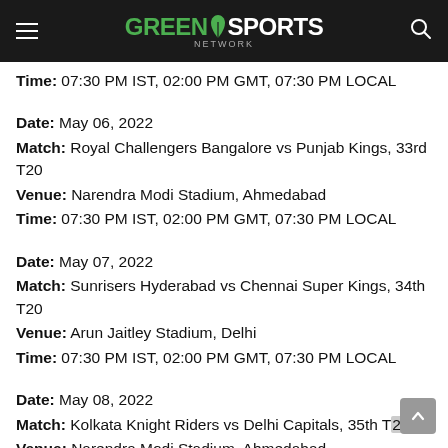Green Sports Network
Time: 07:30 PM IST, 02:00 PM GMT, 07:30 PM LOCAL
Date: May 06, 2022
Match: Royal Challengers Bangalore vs Punjab Kings, 33rd T20
Venue: Narendra Modi Stadium, Ahmedabad
Time: 07:30 PM IST, 02:00 PM GMT, 07:30 PM LOCAL
Date: May 07, 2022
Match: Sunrisers Hyderabad vs Chennai Super Kings, 34th T20
Venue: Arun Jaitley Stadium, Delhi
Time: 07:30 PM IST, 02:00 PM GMT, 07:30 PM LOCAL
Date: May 08, 2022
Match: Kolkata Knight Riders vs Delhi Capitals, 35th T20
Venue: Narendra Modi Stadium, Ahmedabad